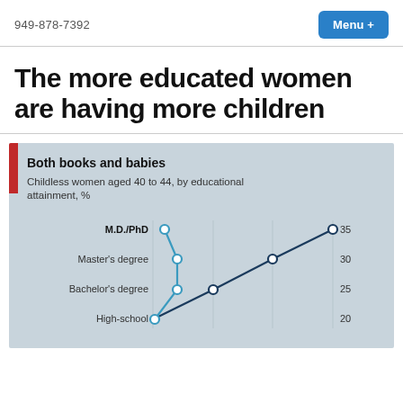949-878-7392
The more educated women are having more children
[Figure (line-chart): Both books and babies]